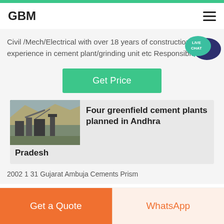GBM
Civil /Mech/Electrical with over 18 years of construction experience in cement plant/grinding unit etc Responsible for
[Figure (screenshot): Green Get Price button]
[Figure (photo): Industrial cement plant facility photo]
Four greenfield cement plants planned in Andhra Pradesh
2002 1 31 Gujarat Ambuja Cements Prism
Get a Quote | WhatsApp